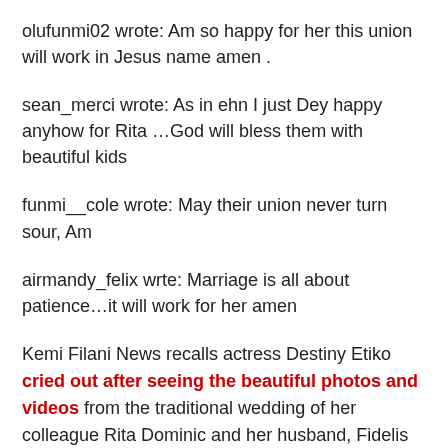olufunmi02 wrote: Am so happy for her this union will work in Jesus name amen .
sean_merci wrote: As in ehn I just Dey happy anyhow for Rita …God will bless them with beautiful kids
funmi__cole wrote: May their union never turn sour, Am
airmandy_felix wrte: Marriage is all about patience…it will work for her amen
Kemi Filani News recalls actress Destiny Etiko cried out after seeing the beautiful photos and videos from the traditional wedding of her colleague Rita Dominic and her husband, Fidelis Anosike.
Taking to her Instagram page to congratulate Rita Dominic, Destiny Etiko said she's feeling bad that she is not around for the big day of her senior colleague